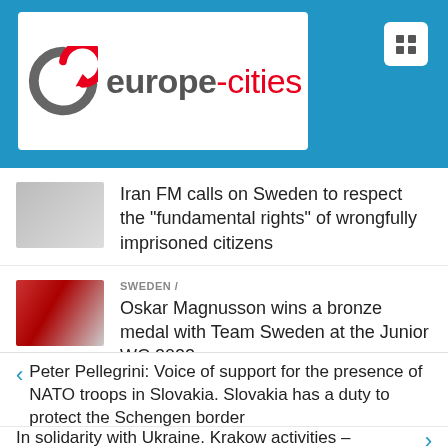[Figure (logo): europe-cities website logo with circular arrow icon in grey and red, white background, on blue header bar]
Iran FM calls on Sweden to respect the “fundamental rights” of wrongfully imprisoned citizens
SWEDEN /
Oskar Magnusson wins a bronze medal with Team Sweden at the Junior WC 2022
Peter Pellegrini: Voice of support for the presence of NATO troops in Slovakia. Slovakia has a duty to protect the Schengen border
In solidarity with Ukraine. Krakow activities –